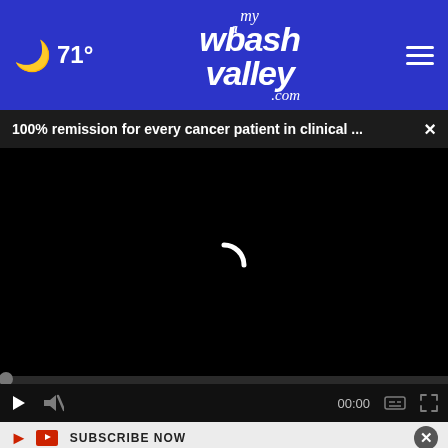71° myWabashValley.com
100% remission for every cancer patient in clinical ... ×
[Figure (screenshot): Video player showing loading spinner on black background with playback controls: play button, mute button, 00:00 timestamp, captions button, fullscreen button]
SUBSCRIBE NOW ×
[Figure (photo): 911 Blood Drive advertisement banner — Vincennes 10 am to 1:15 pm Sep 13th, Robinson 10 am to 2:30 pm Sep 14th]